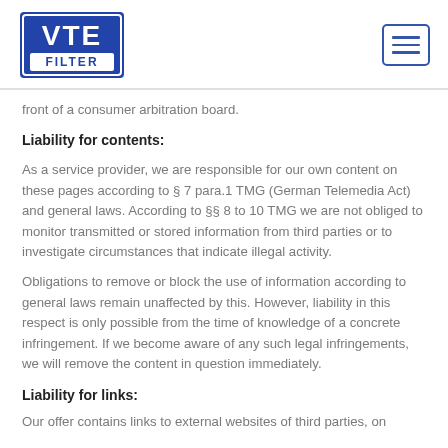VTE FILTER logo and navigation menu
front of a consumer arbitration board.
Liability for contents:
As a service provider, we are responsible for our own content on these pages according to § 7 para.1 TMG (German Telemedia Act) and general laws. According to §§ 8 to 10 TMG we are not obliged to monitor transmitted or stored information from third parties or to investigate circumstances that indicate illegal activity.
Obligations to remove or block the use of information according to general laws remain unaffected by this. However, liability in this respect is only possible from the time of knowledge of a concrete infringement. If we become aware of any such legal infringements, we will remove the content in question immediately.
Liability for links:
Our offer contains links to external websites of third parties, on